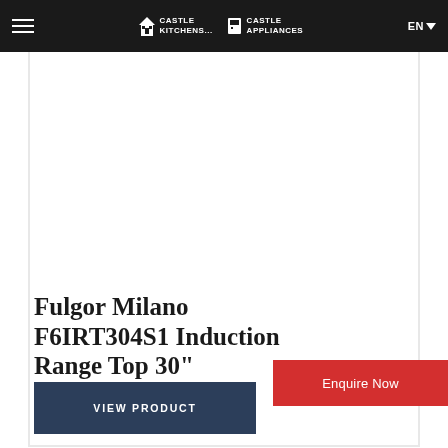Castle Kitchens | Castle Appliances | EN
[Figure (photo): Product image area (white/blank) for Fulgor Milano F6IRT304S1 Induction Range Top]
Fulgor Milano F6IRT304S1 Induction Range Top 30"
Enquire Now
VIEW PRODUCT